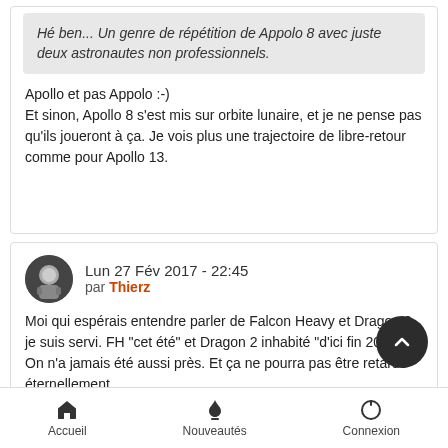Hé ben... Un genre de répétition de Appolo 8 avec juste deux astronautes non professionnels.
Apollo et pas Appolo :-)
Et sinon, Apollo 8 s'est mis sur orbite lunaire, et je ne pense pas qu'ils joueront à ça. Je vois plus une trajectoire de libre-retour comme pour Apollo 13.
Lun 27 Fév 2017 - 22:45
par Thierz
Moi qui espérais entendre parler de Falcon Heavy et Dragon 2, je suis servi. FH "cet été" et Dragon 2 inhabité "d'ici fin 2017". On n'a jamais été aussi près. Et ça ne pourra pas être retardé éternellement.
Accueil   Nouveautés   Connexion